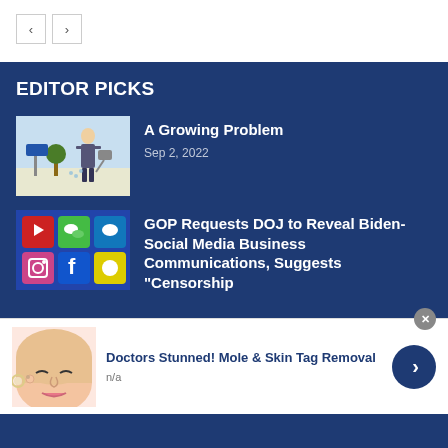[Figure (other): Navigation previous/next arrow buttons]
EDITOR PICKS
[Figure (illustration): Cartoon illustration of a businessman watering a small tree/plant near a road sign]
A Growing Problem
Sep 2, 2022
[Figure (photo): Social media app cube icons including YouTube, WeChat, Instagram, Twitter]
GOP Requests DOJ to Reveal Biden-Social Media Business Communications, Suggests "Censorship
[Figure (illustration): Illustration of a woman's face close-up with skin/mole area]
Doctors Stunned! Mole & Skin Tag Removal
n/a